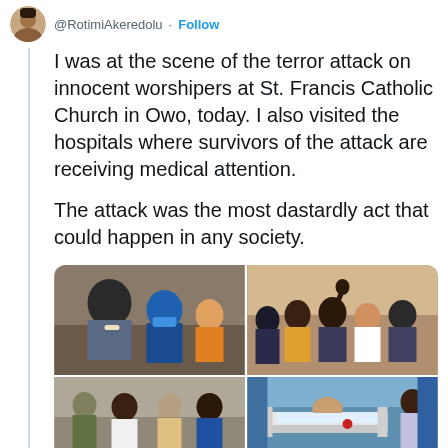[Figure (photo): Twitter/X profile avatar thumbnail — circular profile photo]
@RotimiAkeredolu · Follow
I was at the scene of the terror attack on innocent worshipers at St. Francis Catholic Church in Owo, today. I also visited the hospitals where survivors of the attack are receiving medical attention.

The attack was the most dastardly act that could happen in any society.
[Figure (photo): Four-photo grid showing scenes from the aftermath of the church attack: top-left shows a man wiping tears with others nearby including a woman in a blue mask; top-right shows a crowd of people gathered outdoors; bottom-left shows officials and military personnel at a scene; bottom-right shows a hospital bed with a patient.]